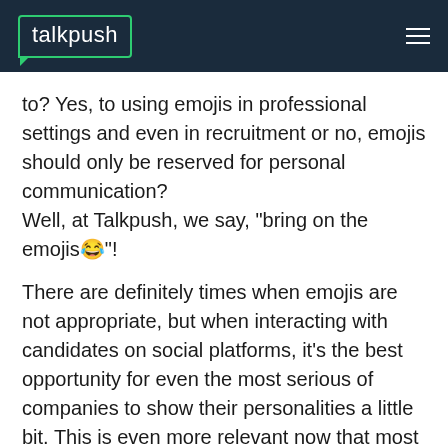talkpush
to? Yes, to using emojis in professional settings and even in recruitment or no, emojis should only be reserved for personal communication?
Well, at Talkpush, we say, "bring on the emojis😂"!
There are definitely times when emojis are not appropriate, but when interacting with candidates on social platforms, it's the best opportunity for even the most serious of companies to show their personalities a little bit. This is even more relevant now that most